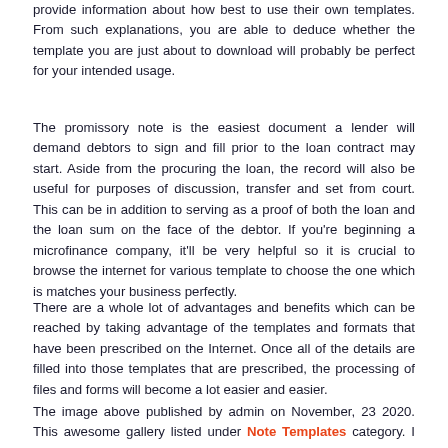provide information about how best to use their own templates. From such explanations, you are able to deduce whether the template you are just about to download will probably be perfect for your intended usage.
The promissory note is the easiest document a lender will demand debtors to sign and fill prior to the loan contract may start. Aside from the procuring the loan, the record will also be useful for purposes of discussion, transfer and set from court. This can be in addition to serving as a proof of both the loan and the loan sum on the face of the debtor. If you're beginning a microfinance company, it'll be very helpful so it is crucial to browse the internet for various template to choose the one which is matches your business perfectly.
There are a whole lot of advantages and benefits which can be reached by taking advantage of the templates and formats that have been prescribed on the Internet. Once all of the details are filled into those templates that are prescribed, the processing of files and forms will become a lot easier and easier.
The image above published by admin on November, 23 2020. This awesome gallery listed under Note Templates category. I hope you